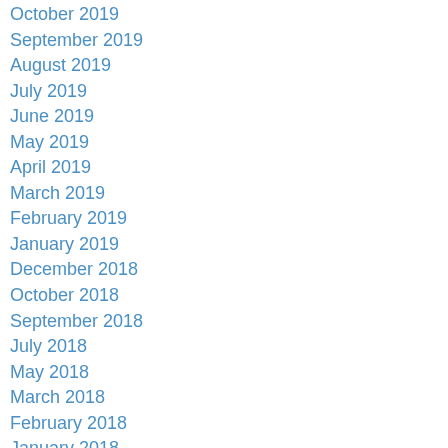October 2019
September 2019
August 2019
July 2019
June 2019
May 2019
April 2019
March 2019
February 2019
January 2019
December 2018
October 2018
September 2018
July 2018
May 2018
March 2018
February 2018
January 2018
December 2017
November 2017
June 2017